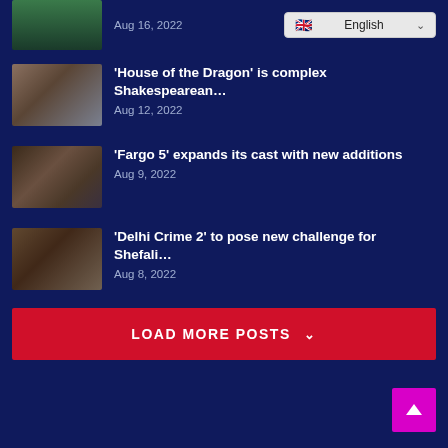[Figure (screenshot): Partial top article thumbnail (cropped at top) showing a person in a teal/green jacket, with date Aug 16, 2022 and an English language selector dropdown on the right.]
'House of the Dragon' is complex Shakespearean... Aug 12, 2022
'Fargo 5' expands its cast with new additions Aug 9, 2022
'Delhi Crime 2' to pose new challenge for Shefali... Aug 8, 2022
LOAD MORE POSTS ˅